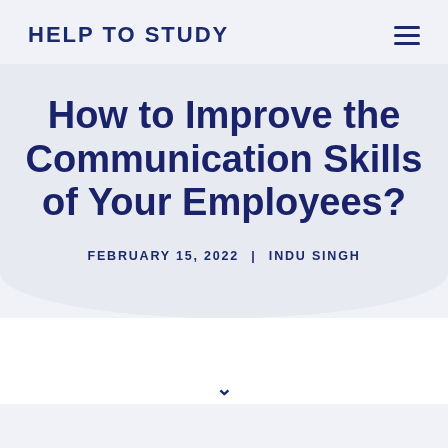HELP TO STUDY
How to Improve the Communication Skills of Your Employees?
FEBRUARY 15, 2022 | INDU SINGH